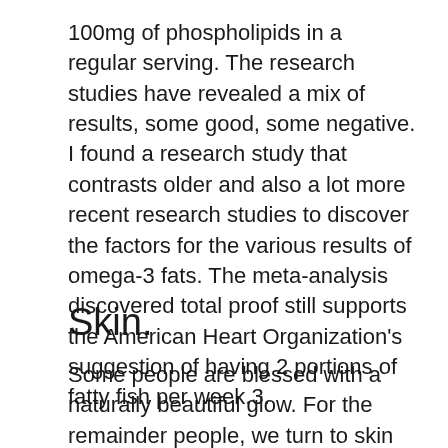100mg of phospholipids in a regular serving. The research studies have revealed a mix of results, some good, some negative. I found a research study that contrasts older and also a lot more recent research studies to discover the factors for the various results of omega-3 fats. The meta-analysis discovered total proof still supports the American Heart Organization's suggestion of having 2 portions of fatty fish per week.3.
Skin.
Some people are blessed with a naturally beautiful glow. For the remainder people, we turn to skin treatment, serums and also supplements to assist achieve the same